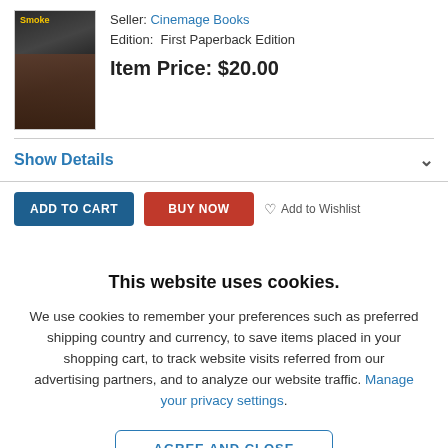[Figure (photo): Book cover thumbnail showing 'Smoke' title in yellow text with two people on the cover]
Seller: Cinemage Books
Edition: First Paperback Edition
Item Price: $20.00
Show Details
ADD TO CART
BUY NOW
Add to Wishlist
This website uses cookies.
We use cookies to remember your preferences such as preferred shipping country and currency, to save items placed in your shopping cart, to track website visits referred from our advertising partners, and to analyze our website traffic. Manage your privacy settings.
AGREE AND CLOSE